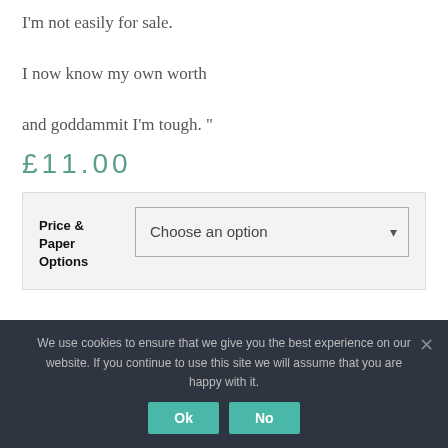I'm not easily for sale.

I now know my own worth

and goddammit I'm tough. "
£11.00
| Price & Paper Options | Choose an option |
| --- | --- |
We use cookies to ensure that we give you the best experience on our website. If you continue to use this site we will assume that you are happy with it.